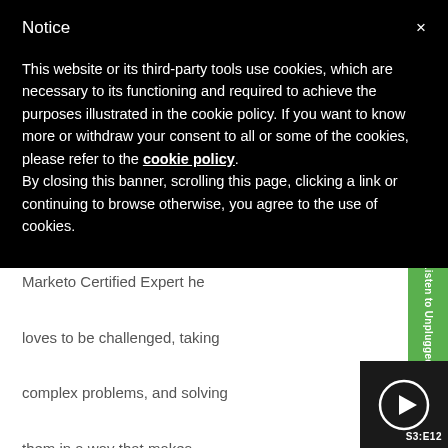Notice
This website or its third-party tools use cookies, which are necessary to its functioning and required to achieve the purposes illustrated in the cookie policy. If you want to know more or withdraw your consent to all or some of the cookies, please refer to the cookie policy.
By closing this banner, scrolling this page, clicking a link or continuing to browse otherwise, you agree to the use of cookies.
Marketo Certified Expert he loves to be challenged, taking complex problems, and solving them in a way that makes everyone's job easier.
[Figure (other): Green sidebar tab with rotated text 'Listen to Unplugged' and dark panel with a play button circle icon and episode label S3:E12]